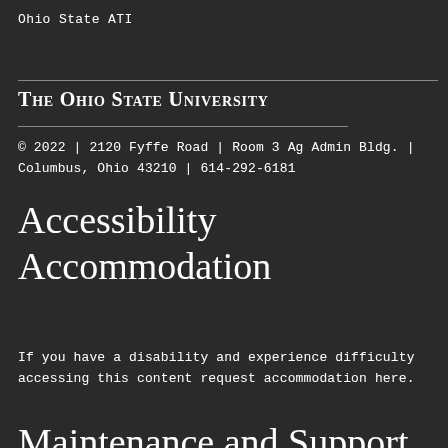Ohio State ATI
The Ohio State University
© 2022 | 2120 Fyffe Road | Room 3 Ag Admin Bldg. | Columbus, Ohio 43210 | 614-292-6181
Accessibility Accommodation
If you have a disability and experience difficulty accessing this content request accommodation here.
Maintenance and Support